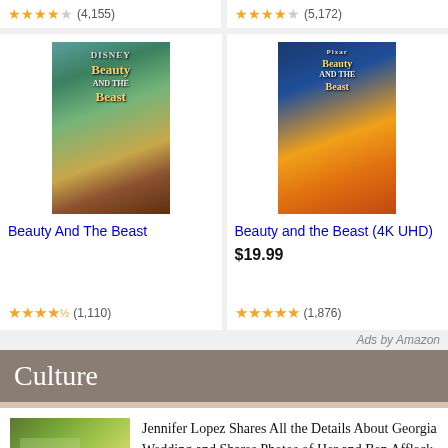★★★★☆ (4,155)
★★★★☆ (5,172)
[Figure (photo): Movie poster for Beauty And The Beast (2017 live-action), showing Belle and the Beast with a castle in background]
Beauty And The Beast
★★★★½ (1,110)
[Figure (photo): Movie poster for Beauty and the Beast (4K UHD) animated version, showing Belle in yellow dress with the Beast]
Beauty and the Beast (4K UHD)
$19.99
★★★★★ (1,876)
Ads by Amazon
Culture
[Figure (photo): Outdoor photo with green foliage/flowers, related to Jennifer Lopez wedding]
Jennifer Lopez Shares All the Details About Georgia Wedding and Shares Photos of Her and Ben Affleck